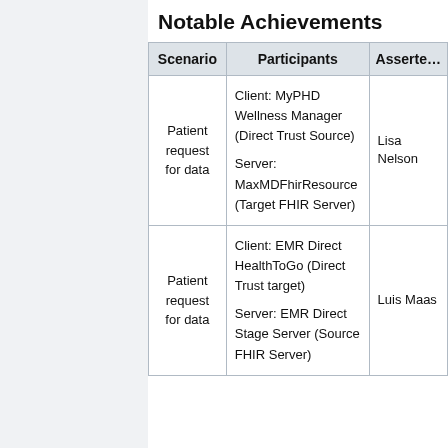Notable Achievements
| Scenario | Participants | Asserter |
| --- | --- | --- |
| Patient request for data | Client: MyPHD Wellness Manager (Direct Trust Source)
Server: MaxMDFhirResource (Target FHIR Server) | Lisa Nelson |
| Patient request for data | Client: EMR Direct HealthToGo (Direct Trust target)
Server: EMR Direct Stage Server (Source FHIR Server) | Luis Maas |